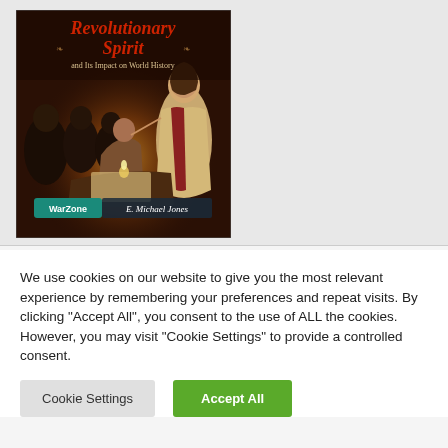[Figure (illustration): Book cover of 'Revolutionary Spirit and Its Impact on World History' by E. Michael Jones. Dark painting showing robed figures around a candlelit table with a central illuminated figure. Red ornate title text at top, green WarZone badge at bottom left, author name at bottom right.]
We use cookies on our website to give you the most relevant experience by remembering your preferences and repeat visits. By clicking "Accept All", you consent to the use of ALL the cookies. However, you may visit "Cookie Settings" to provide a controlled consent.
Cookie Settings
Accept All